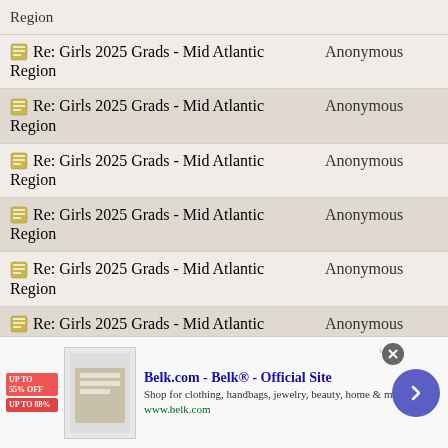| Topic | Author |
| --- | --- |
| Region |  |
| Re: Girls 2025 Grads - Mid Atlantic Region | Anonymous |
| Re: Girls 2025 Grads - Mid Atlantic Region | Anonymous |
| Re: Girls 2025 Grads - Mid Atlantic Region | Anonymous |
| Re: Girls 2025 Grads - Mid Atlantic Region | Anonymous |
| Re: Girls 2025 Grads - Mid Atlantic Region | Anonymous |
| Re: Girls 2025 Grads - Mid Atlantic Region | Anonymous |
| Re: Girls 2025 Grads - Mid Atlantic Region | Anonymous |
| Re: Girls 2025 Grads - Mid Atlantic Region | Anonymous |
[Figure (screenshot): Advertisement banner for Belk.com showing clothing/bedding image, sale percentages, title 'Belk.com - Belk® - Official Site', description text, URL www.belk.com, close button, and navigation arrow]